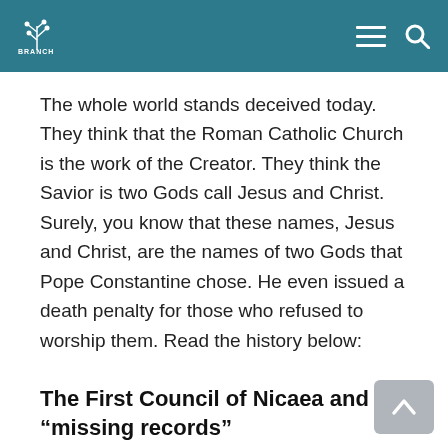BRANCH
The whole world stands deceived today. They think that the Roman Catholic Church is the work of the Creator. They think the Savior is two Gods call Jesus and Christ. Surely, you know that these names, Jesus and Christ, are the names of two Gods that Pope Constantine chose. He even issued a death penalty for those who refused to worship them. Read the history below:
The First Council of Nicaea and the “missing records”